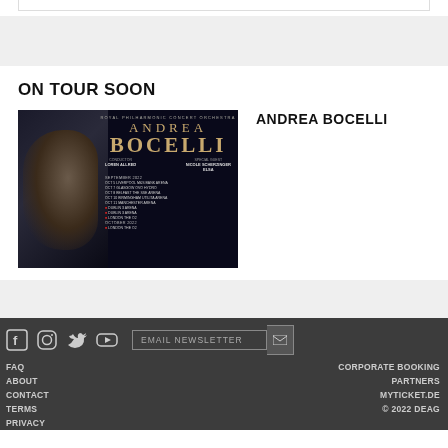ON TOUR SOON
[Figure (photo): Andrea Bocelli concert tour promotional poster with dark background showing artist name in gold letters and tour dates]
ANDREA BOCELLI
FAQ  ABOUT  CONTACT  TERMS  PRIVACY  CORPORATE BOOKING  PARTNERS  MYTICKET.DE  © 2022 DEAG